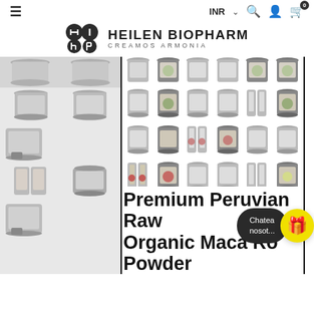≡  INR ∨  🔍  👤  🛒 0
[Figure (logo): Heilen Biopharm logo with two overlapping circle icons and text: HEILEN BIOPHARM / CREAMOS ARMONIA]
[Figure (photo): Grid of Heilen Biopharm supplement product bottles/jars (Maca powder variants) arranged in 4 rows of 6, with a partial top row cut off. Left strip shows two large product containers. Products include Black Maca, Red Maca, and other Maca powder variants.]
Premium Peruvian Raw Organic Maca Ro... Powder